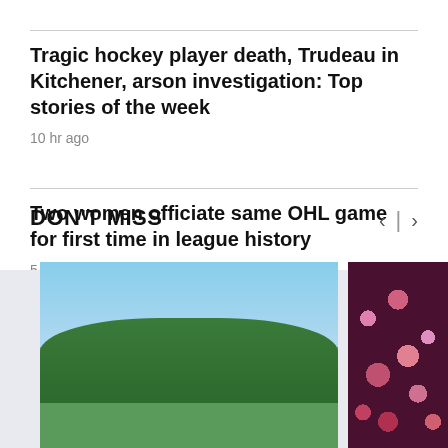Tragic hockey player death, Trudeau in Kitchener, arson investigation: Top stories of the week
10 hr ago
Two women officiate same OHL game for first time in league history
5 hr ago
DON'T MISS
[Figure (photo): Two people in Canada jerseys outdoors with trees in background]
[Figure (photo): Floral artwork or textile with pink and burgundy tones]